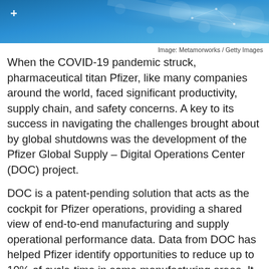[Figure (photo): Blue abstract technology background with glowing bokeh lights and digital network pattern, with a small white plus/cross icon in the upper left corner.]
Image: Metamorworks / Getty Images
When the COVID-19 pandemic struck, pharmaceutical titan Pfizer, like many companies around the world, faced significant productivity, supply chain, and safety concerns. A key to its success in navigating the challenges brought about by global shutdowns was the development of the Pfizer Global Supply – Digital Operations Center (DOC) project.
DOC is a patent-pending solution that acts as the cockpit for Pfizer operations, providing a shared view of end-to-end manufacturing and supply operational performance data. Data from DOC has helped Pfizer identify opportunities to reduce up to 10% of cycle-time in some manufacturing areas. It has been critical